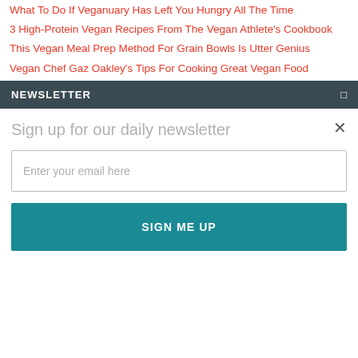What To Do If Veganuary Has Left You Hungry All The Time
3 High-Protein Vegan Recipes From The Vegan Athlete's Cookbook
This Vegan Meal Prep Method For Grain Bowls Is Utter Genius
Vegan Chef Gaz Oakley's Tips For Cooking Great Vegan Food
NEWSLETTER
Sign up for our daily newsletter
Enter your email here
SIGN ME UP